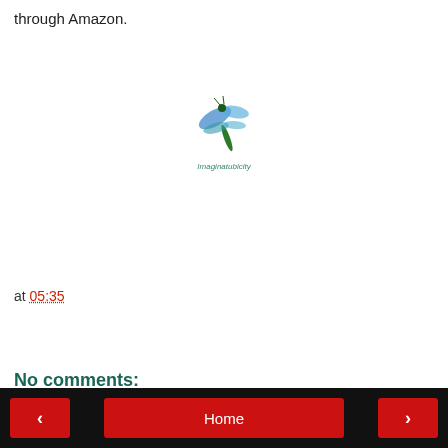through Amazon.
[Figure (logo): Imaginatubicity logo: a dragonfly-like insect with blue and green wings above the text 'Imaginatubicity' in teal italic font]
at 05:35
Share
No comments:
Post a Comment
< Home >